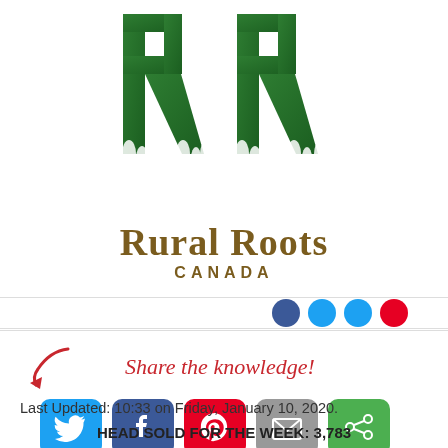[Figure (logo): Rural Roots Canada logo with two large green 'RR' letters with grass/roots at bottom, and text 'Rural Roots Canada' below in brown]
[Figure (infographic): Share the knowledge! prompt with arrow and social media sharing buttons: Twitter, Facebook, Pinterest, Email, and share icon]
Last Updated: 10:33 on Friday, January 10, 2020.
HEAD SOLD FOR THE WEEK: 3,783